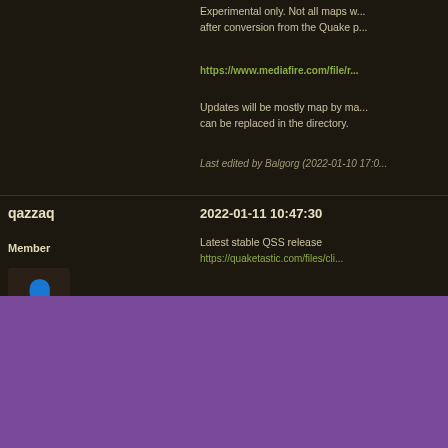Experimental only. Not all maps w... after conversion from the Quake p...
https://www.mediafire.com/file/r...
Updates will be mostly map by ma... can be replaced in the directory.
Last edited by Balgorg (2022-01-10 17:0...
qazzaq
2022-01-11 10:47:30
Member
Latest stable QSS release
https://quaketastic.com/files/cli...
Version 14.11.21 highly NOT reco...
Joinery
2022-01-13 01:25:03
Member
I'm only in the first map (city) at the...
This is heckin' rad, my dude. Supe... music kinda make it feel like Malic...
This website uses cookies to ensure you get the best experience on our website. You can block cookies and use *most* of the site just fine. TODO policy
Got it!